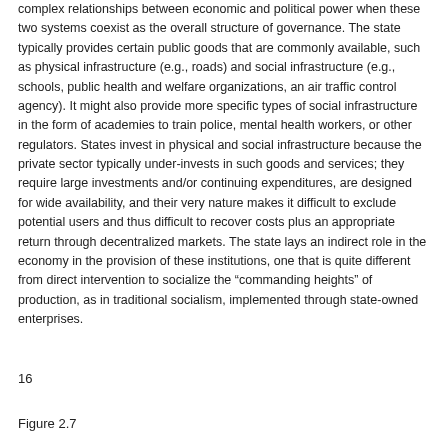complex relationships between economic and political power when these two systems coexist as the overall structure of governance. The state typically provides certain public goods that are commonly available, such as physical infrastructure (e.g., roads) and social infrastructure (e.g., schools, public health and welfare organizations, an air traffic control agency). It might also provide more specific types of social infrastructure in the form of academies to train police, mental health workers, or other regulators. States invest in physical and social infrastructure because the private sector typically under-invests in such goods and services; they require large investments and/or continuing expenditures, are designed for wide availability, and their very nature makes it difficult to exclude potential users and thus difficult to recover costs plus an appropriate return through decentralized markets. The state lays an indirect role in the economy in the provision of these institutions, one that is quite different from direct intervention to socialize the “commanding heights” of production, as in traditional socialism, implemented through state-owned enterprises.
16
Figure 2.7